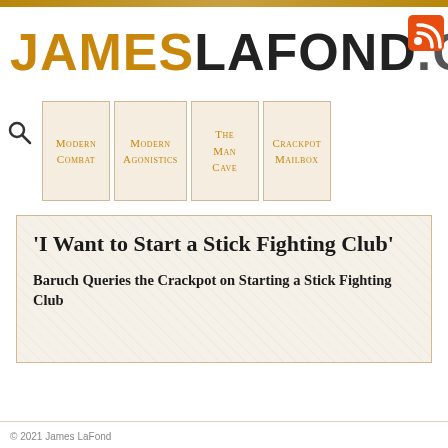JAMESLAFOND.COM
Modern Combat
Modern Agonistics
The Man Cave
Crackpot Mailbox
'I Want to Start a Stick Fighting Club'
Baruch Queries the Crackpot on Starting a Stick Fighting Club
© 2021 James LaFond